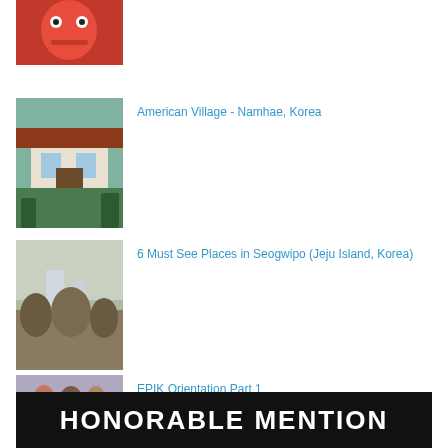[Figure (photo): Red character toy/mascot photo thumbnail]
[Figure (photo): White building with Korean-style architecture surrounded by greenery - American Village Namhae Korea]
American Village - Namhae, Korea
[Figure (photo): Waterfall and bare trees landscape - Seogwipo Jeju Island Korea]
6 Must See Places in Seogwipo (Jeju Island, Korea)
[Figure (photo): People viewed from behind in an outdoor plaza - EPIK Orientation]
EPIK Orientation Part 1
HONORABLE MENTION